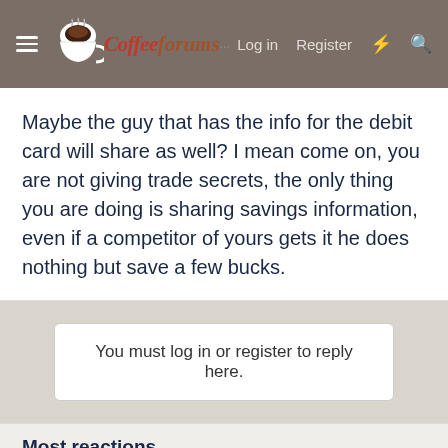CoffeeForums.com  Log in  Register
Maybe the guy that has the info for the debit card will share as well? I mean come on, you are not giving trade secrets, the only thing you are doing is sharing savings information, even if a competitor of yours gets it he does nothing but save a few bucks.
You must log in or register to reply here.
Most reactions
[Figure (other): Row of user avatars with letter icons (A:2, B:1, C:1, K:1, K:1, T:1) and one photo avatar with count 1]